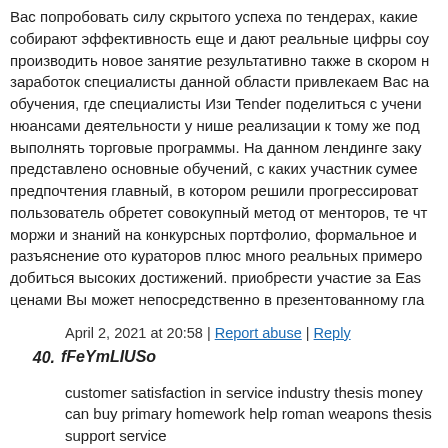Вас попробовать силу скрытого успеха по тендерах, какие собирают эффективность еще и дают реальные цифры соу производить новое занятие результативно также в скором н заработок специалисты данной области привлекаем Вас на обучения, где специалисты Изи Tender поделиться с учени нюансами деятельности у нише реализации к тому же под выполнять торговые программы. На данном лендинге заку представлено основные обучений, с каких участник сумее предпочтения главный, в котором решили прогрессироват пользователь обретет совокупный метод от менторов, те ч моржи и знаний на конкурсных портфолио, формальное и разъяснение ото кураторов плюс много реальных примеро добиться высоких достижений. приобрести участие за Eas ценами Вы может непосредственно в презентованному гла
April 2, 2021 at 20:58 | Report abuse | Reply
40. fFeYmLIUSo
customer satisfaction in service industry thesis money can buy primary homework help roman weapons thesis support service
April 2, 2021 at 21:37 | Report abuse | Reply
41. WOIRFUWvGe
louisiana homework help online exemplification essay nursing